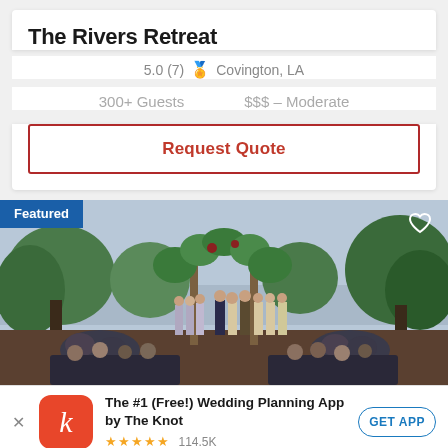The Rivers Retreat
5.0 (7) 🏅 Covington, LA
300+ Guests  $$$ – Moderate
Request Quote
[Figure (photo): Outdoor wedding ceremony under a floral arch with guests seated, greenery and water in background. Featured badge in top left corner, heart icon top right.]
The #1 (Free!) Wedding Planning App by The Knot ★★★★★ 114.5K  GET APP